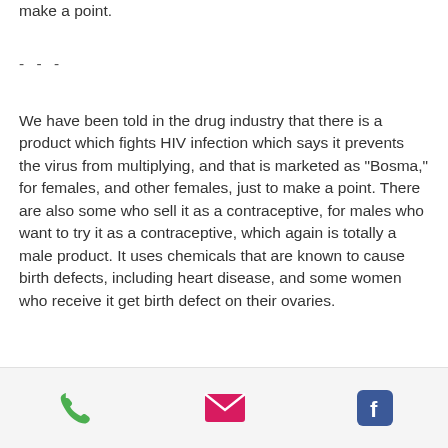make a point.
- - -
We have been told in the drug industry that there is a product which fights HIV infection which says it prevents the virus from multiplying, and that is marketed as "Bosma," for females, and other females, just to make a point. There are also some who sell it as a contraceptive, for males who want to try it as a contraceptive, which again is totally a male product. It uses chemicals that are known to cause birth defects, including heart disease, and some women who receive it get birth defect on their ovaries.
- - -
[Figure (other): App footer bar with phone, email, and Facebook icons]